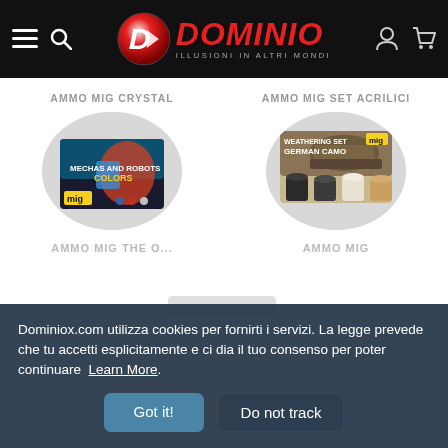Dominio — navigation header with logo
AMMO MIG CRYSTAL
[Figure (photo): Product image of Ammo Mig Crystal set showing Mechas and Robots Colors paint set in circular frame]
AMMO MIG SET ACRILICI
[Figure (photo): Product image of Ammo Mig Set Acrilici showing Weathering Set German Camo paint set in circular frame]
Dominiox.com utilizza cookies per fornirti i servizi. La legge prevede che tu accetti esplicitamente e ci dia il tuo consenso per poter continuare Learn More
Got it!
Do not track